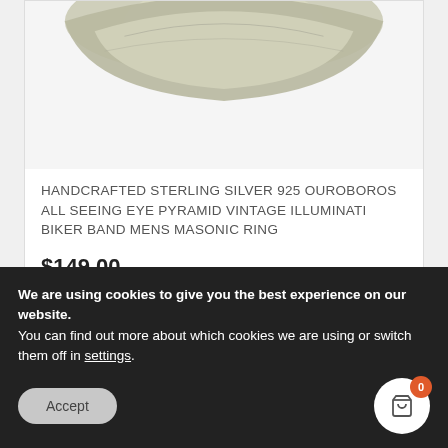[Figure (photo): Close-up photo of a silver/metallic ring (handcrafted sterling silver) shown against white background, only bottom portion visible]
HANDCRAFTED STERLING SILVER 925 OUROBOROS ALL SEEING EYE PYRAMID VINTAGE ILLUMINATI BIKER BAND MENS MASONIC RING
$149.00
[Figure (photo): Partial photo of another silver ring product visible at the bottom of the page]
We are using cookies to give you the best experience on our website.
You can find out more about which cookies we are using or switch them off in settings.